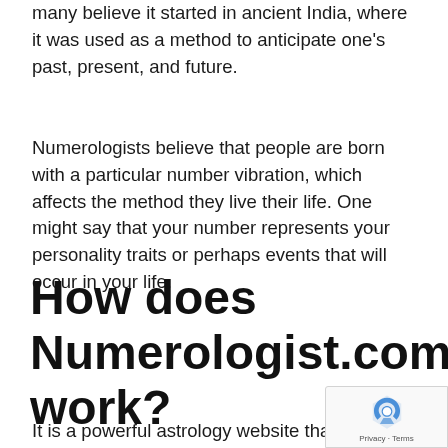many believe it started in ancient India, where it was used as a method to anticipate one's past, present, and future.
Numerologists believe that people are born with a particular number vibration, which affects the method they live their life. One might say that your number represents your personality traits or perhaps events that will occur in your life.
How does Numerologist.com work?
It is a powerful astrology website that uti…